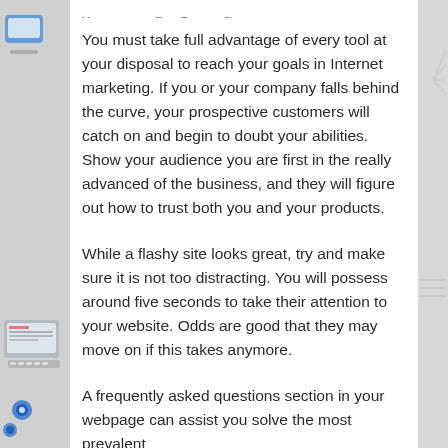You must take full advantage of every tool at your disposal to reach your goals in Internet marketing. If you or your company falls behind the curve, your prospective customers will catch on and begin to doubt your abilities. Show your audience you are first in the really advanced of the business, and they will figure out how to trust both you and your products.
While a flashy site looks great, try and make sure it is not too distracting. You will possess around five seconds to take their attention to your website. Odds are good that they may move on if this takes anymore.
A frequently asked questions section in your webpage can assist you solve the most prevalent